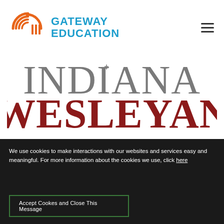[Figure (logo): Gateway Education logo with orange circular G icon and blue GATEWAY EDUCATION text]
[Figure (logo): Indiana Wesleyan University logo — large serif text 'INDIANA' in grey and 'WESLEYAN' in dark red/maroon]
We use cookies to make interactions with our websites and services easy and meaningful. For more information about the cookies we use, click here
Accept Cookes and Close This Message